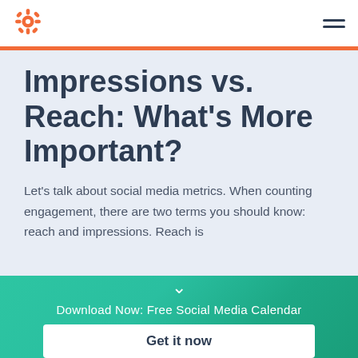HubSpot logo and navigation menu
Impressions vs. Reach: What's More Important?
Let's talk about social media metrics. When counting engagement, there are two terms you should know: reach and impressions. Reach is
[Figure (other): Teal/green gradient CTA banner with chevron down arrow, download prompt text, and Get it now button]
Download Now: Free Social Media Calendar
Get it now